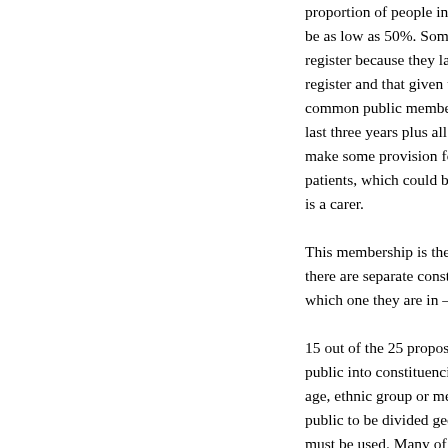proportion of people in an area who are on the be as low as 50%. Some people are not supp register because they lack the necessary citiz register and that given to the hospital may not common public membership proposal is for al last three years plus all residents in a catchme make some provision for carers either in addit patients, which could be a problem if there is a is a carer. This membership is then usually combined int there are separate constituencies by category which one they are in – you can't be in more t 15 out of the 25 propose to divide the governo public into constituencies, some on a geograp age, ethnic group or medical condition, yet the public to be divided geographically, and provid must be used. Many of the documents show a the technicalities of running elections, which